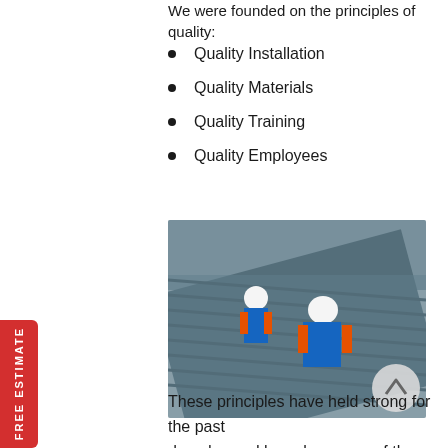We were founded on the principles of quality:
Quality Installation
Quality Materials
Quality Training
Quality Employees
[Figure (photo): Two workers in orange hi-vis vests and white hard hats installing metal roofing panels on a sloped roof surface]
These principles have held strong for the past decades and have been one of the most